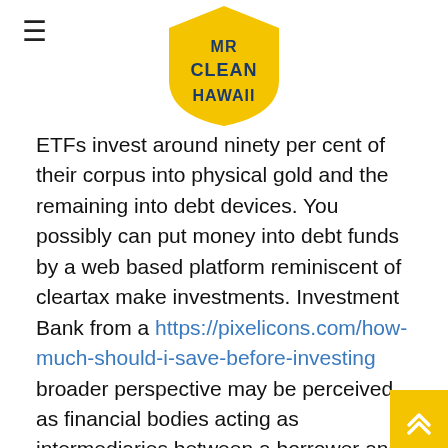MR CLEAN HAWAII
ETFs invest around ninety per cent of their corpus into physical gold and the remaining into debt devices. You possibly can put money into debt funds by a web based platform reminiscent of cleartax make investments. Investment Bank from a https://pixelicons.com/how-much-should-i-save-before-investing broader perspective may be perceived as financial bodies acting as intermediaries between a borrower and an investor, who sources capital for the previous, from the latter. How a lot cash do you want to invest in mutual funds? That is investment property loans texas true even when the purchaser chooses to take management of the storage facility the place you retain the gold or arranges to have it bodily moved to a brand new location. First, don't neglect to keep this investing separate to the concepts of wealth preservation. Hunt down all of the locations your canine loves taking a nap and invest in us shares from australia throw a sheet over all of them to maintain it properly and tidy. People purchase each property when their